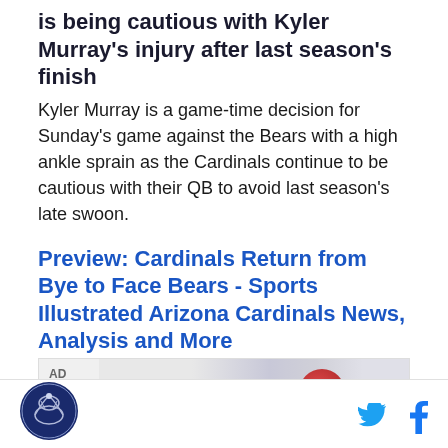is being cautious with Kyler Murray's injury after last season's finish
Kyler Murray is a game-time decision for Sunday's game against the Bears with a high ankle sprain as the Cardinals continue to be cautious with their QB to avoid last season's late swoon.
Preview: Cardinals Return from Bye to Face Bears - Sports Illustrated Arizona Cardinals News, Analysis and More
How to watch information, previews, injuries and key players for the Arizona Cardinals' road game against the Chicago Bears.
[Figure (other): Advertisement banner with AD label and partial image]
[Figure (logo): Circular logo in bottom bar]
[Figure (other): Twitter and Facebook social media icons in bottom bar]